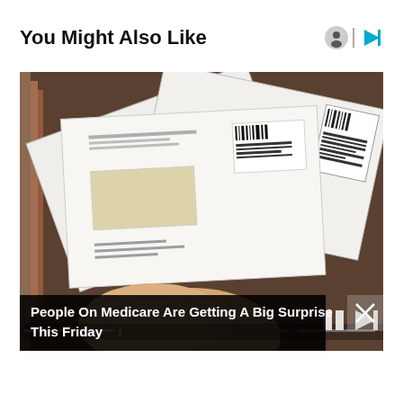You Might Also Like
[Figure (screenshot): Video thumbnail showing a hand holding multiple envelopes with check windows, overlaid with a dark caption bar reading 'People On Medicare Are Getting A Big Surprise This Friday'. Video player controls visible at bottom.]